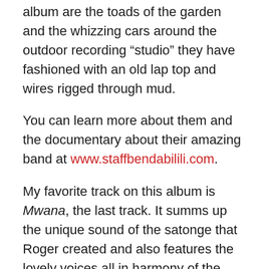album are the toads of the garden and the whizzing cars around the outdoor recording “studio” they have fashioned with an old lap top and wires rigged through mud.
You can learn more about them and the documentary about their amazing band at www.staffbendabilili.com.
My favorite track on this album is Mwana, the last track. It summs up the unique sound of the satonge that Roger created and also features the lovely voices all in harmony of the older band members. However, Tonkara or “cardboard” in my second favorite. It is a slower, slightly latin groove that discussed finding luck once one has had to sleep on cardboard. This sense of unparalled optimism really sums up the message that many of Staff Benda Bilili's songs send. This band is about more that